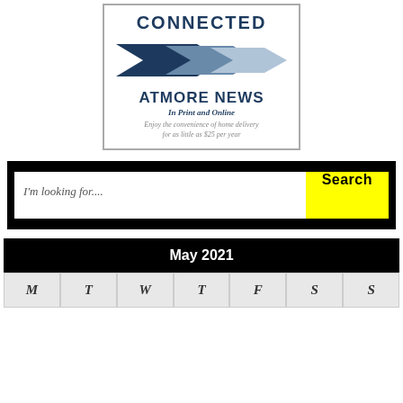[Figure (logo): Atmore News advertisement showing CONNECTED text, three rightward arrows in dark to light blue, ATMORE NEWS masthead, In Print and Online subtitle, and tagline about home delivery for $25 per year]
I'm looking for....
Search
May 2021
| M | T | W | T | F | S | S |
| --- | --- | --- | --- | --- | --- | --- |